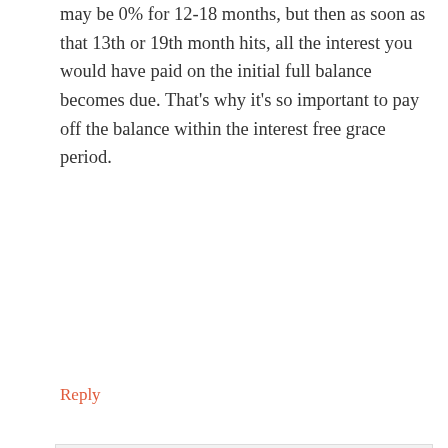may be 0% for 12-18 months, but then as soon as that 13th or 19th month hits, all the interest you would have paid on the initial full balance becomes due. That’s why it’s so important to pay off the balance within the interest free grace period.
Reply
Michelle Schroeder-Gardner says
November 23, 2015 at 10:24 am
Yes, exactly. Thanks Tara!
Reply